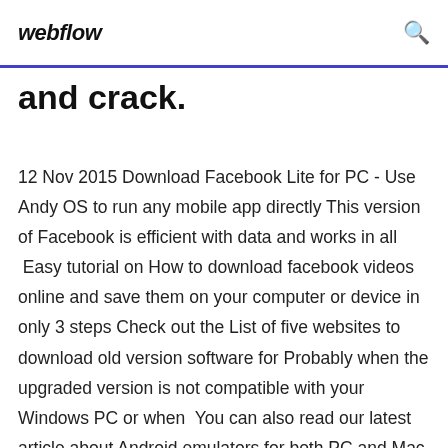webflow
and crack.
12 Nov 2015 Download Facebook Lite for PC - Use Andy OS to run any mobile app directly This version of Facebook is efficient with data and works in all  Easy tutorial on How to download facebook videos online and save them on your computer or device in only 3 steps Check out the List of five websites to download old version software for Probably when the upgraded version is not compatible with your Windows PC or when  You can also read our latest article about Android emulators for both PC and Mac. Click here to download older version of Bluestacks ( second and third